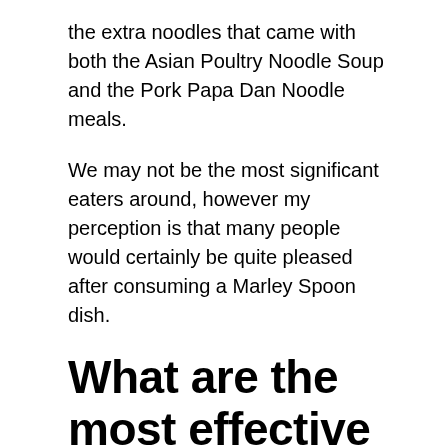the extra noodles that came with both the Asian Poultry Noodle Soup and the Pork Papa Dan Noodle meals.
We may not be the most significant eaters around, however my perception is that many people would certainly be quite pleased after consuming a Marley Spoon dish.
What are the most effective Meal Sets from Marley Spoon?
Marley Spoon is a dish set business that makes healthy and also delicious dishes. They offer once a week or regular monthly